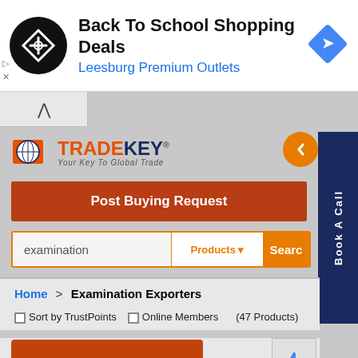[Figure (screenshot): Advertisement banner for 'Back To School Shopping Deals' at Leesburg Premium Outlets, with a circular black logo on the left and a blue diamond navigation icon on the right]
[Figure (screenshot): TradeKey website screenshot showing logo, Post Buying Request button, search bar with 'examination' query, breadcrumb navigation, sort/filter options, and a product listing partially covered by an Amazon Services advertisement overlay]
Back To School Shopping Deals
Leesburg Premium Outlets
TRADEKEY® Your Key To Global Trade
Post Buying Request
examination
Products
Search
Home > Examination Exporters
Sort by TrustPoints  Online Members  (47 Products)
nitrile gloves,...
Carton ( Negotiable ) Get Latest Price
Amazon Services
Book A Call